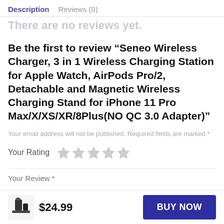Description   Reviews (0)
There are no reviews yet.
Be the first to review “Seneo Wireless Charger, 3 in 1 Wireless Charging Station for Apple Watch, AirPods Pro/2, Detachable and Magnetic Wireless Charging Stand for iPhone 11 Pro Max/X/XS/XR/8Plus(NO QC 3.0 Adapter)”
Your email address will not be published. Required fields are marked *
Your Rating
Your Review *
$24.99
BUY NOW